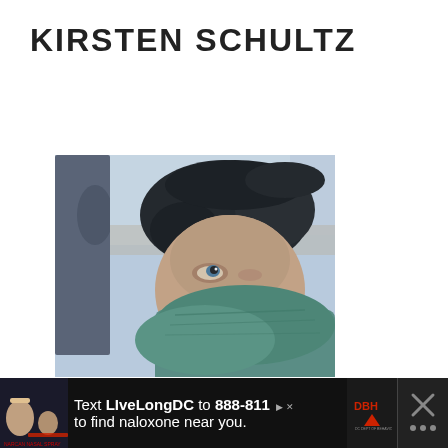KIRSTEN SCHULTZ
From Not Standing Still's Disease
[Figure (photo): A woman with dark curly hair looking upward while inside a car, face partially obscured by a teal/green cloth or scarf. Photo appears to have a blue/purple tint filter.]
Text LiveLongDC to 888-811 to find naloxone near you.